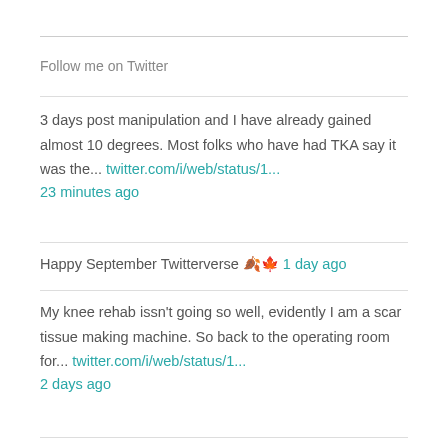Follow me on Twitter
3 days post manipulation and I have already gained almost 10 degrees. Most folks who have had TKA say it was the... twitter.com/i/web/status/1... 23 minutes ago
Happy September Twitterverse 🍂🍁 1 day ago
My knee rehab issn't going so well, evidently I am a scar tissue making machine. So back to the operating room for... twitter.com/i/web/status/1... 2 days ago